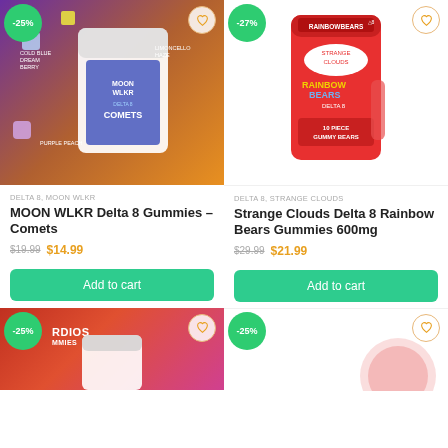[Figure (photo): MOON WLKR Delta 8 Gummies Comets product bag on colorful purple-orange gradient background with floating gummy cubes, -25% discount badge]
[Figure (photo): Strange Clouds Delta 8 Rainbow Bears Gummies 600mg product bag on white background, -27% discount badge]
DELTA 8, MOON WLKR
MOON WLKR Delta 8 Gummies – Comets
$19.99  $14.99
Add to cart
DELTA 8, STRANGE CLOUDS
Strange Clouds Delta 8 Rainbow Bears Gummies 600mg
$29.99  $21.99
Add to cart
[Figure (photo): Product bag on red-pink gradient background, -25% discount badge, RDIOS MMIES brand text visible]
[Figure (photo): Circular product on white background, -25% discount badge]